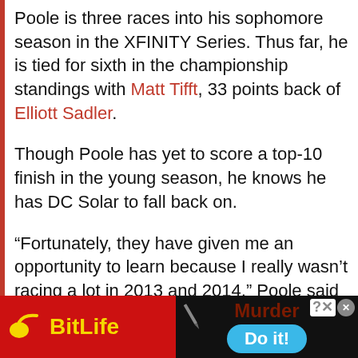Poole is three races into his sophomore season in the XFINITY Series. Thus far, he is tied for sixth in the championship standings with Matt Tifft, 33 points back of Elliott Sadler.
Though Poole has yet to score a top-10 finish in the young season, he knows he has DC Solar to fall back on.
“Fortunately, they have given me an opportunity to learn because I really wasn’t racing a lot in 2013 and 2014,” Poole said of
[Figure (screenshot): Advertisement banner at the bottom: BitLife app ad on the left (red background, yellow BitLife logo with sperm icon), and a Murder game ad on the right (dark background with 'Murder Do it!' text and blue button)]